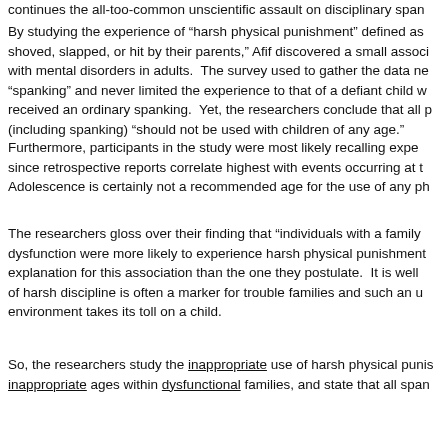continues the all-too-common unscientific assault on disciplinary span
By studying the experience of “harsh physical punishment” defined as shoved, slapped, or hit by their parents,” Afif discovered a small associ with mental disorders in adults. The survey used to gather the data ne “spanking” and never limited the experience to that of a defiant child w received an ordinary spanking. Yet, the researchers conclude that all p (including spanking) “should not be used with children of any age.”
Furthermore, participants in the study were most likely recalling expe since retrospective reports correlate highest with events occurring at t Adolescence is certainly not a recommended age for the use of any ph
The researchers gloss over their finding that “individuals with a family dysfunction were more likely to experience harsh physical punishment explanation for this association than the one they postulate. It is well of harsh discipline is often a marker for trouble families and such an u environment takes its toll on a child.
So, the researchers study the inappropriate use of harsh physical punis inappropriate ages within dysfunctional families, and state that all span